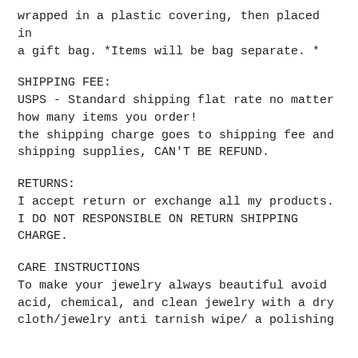wrapped in a plastic covering, then placed in a gift bag. *Items will be bag separate. *
SHIPPING FEE:
USPS - Standard shipping flat rate no matter how many items you order!
the shipping charge goes to shipping fee and shipping supplies, CAN'T BE REFUND.
RETURNS:
I accept return or exchange all my products. I DO NOT RESPONSIBLE ON RETURN SHIPPING CHARGE.
CARE INSTRUCTIONS
To make your jewelry always beautiful avoid acid, chemical, and clean jewelry with a dry cloth/jewelry anti tarnish wipe/ a polishing